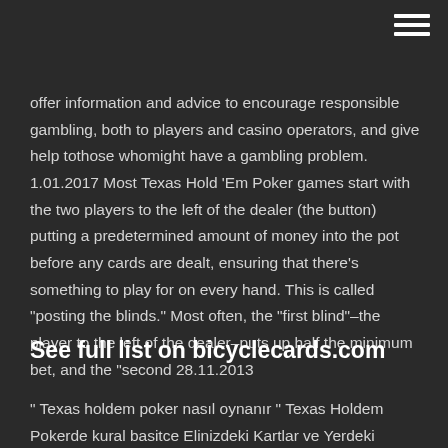[menu icon]
offer information and advice to encourage responsible gambling, both to players and casino operators, and give help tothose whomight have a gambling problem. 1.01.2017 Most Texas Hold 'Em Poker games start with the two players to the left of the dealer (the button) putting a predetermined amount of money into the pot before any cards are dealt, ensuring that there's something to play for on every hand. This is called "posting the blinds." Most often, the "first blind"–the player to the left of the dealer–puts up half the minimum bet, and the "second 28.11.2013
See full list on bicyclecards.com
" Texas holdem poker nasıl oynanır " Texas Holdem Pokerde kural basitce Elinizdeki Kartlar ve Yerdeki kartların bir araya